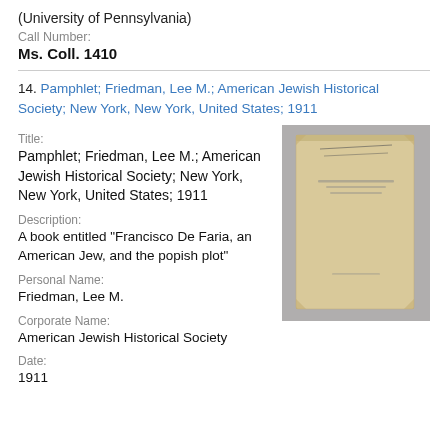(University of Pennsylvania)
Call Number:
Ms. Coll. 1410
14. Pamphlet; Friedman, Lee M.; American Jewish Historical Society; New York, New York, United States; 1911
Title:
Pamphlet; Friedman, Lee M.; American Jewish Historical Society; New York, New York, United States; 1911
[Figure (photo): Thumbnail image of a pamphlet cover, beige/cream colored with handwriting at the top and printed text below, shown against a gray background.]
Description:
A book entitled "Francisco De Faria, an American Jew, and the popish plot"
Personal Name:
Friedman, Lee M.
Corporate Name:
American Jewish Historical Society
Date:
1911